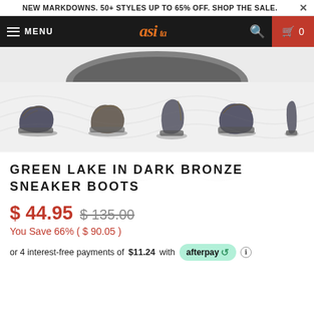NEW MARKDOWNS. 50+ STYLES UP TO 65% OFF. SHOP THE SALE.
[Figure (screenshot): E-commerce website navigation bar with hamburger menu, MENU text, brand logo, search icon, and shopping cart icon showing 0 items]
[Figure (photo): Five thumbnail images of the Green Lake Dark Bronze Sneaker Boot from different angles]
GREEN LAKE IN DARK BRONZE SNEAKER BOOTS
$ 44.95  $ 135.00
You Save 66% ( $ 90.05 )
or 4 interest-free payments of $11.24 with afterpay